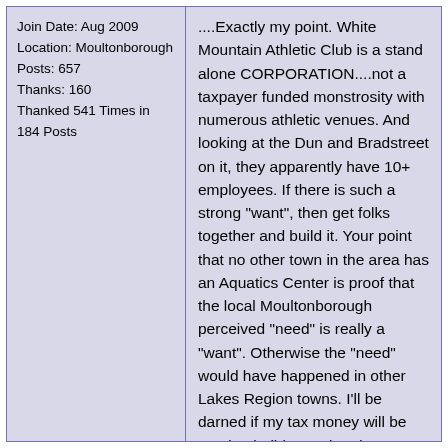Join Date: Aug 2009
Location: Moultonborough
Posts: 657
Thanks: 160
Thanked 541 Times in 184 Posts
....Exactly my point. White Mountain Athletic Club is a stand alone CORPORATION....not a taxpayer funded monstrosity with numerous athletic venues. And looking at the Dun and Bradstreet on it, they apparently have 10+ employees. If there is such a strong "want", then get folks together and build it. Your point that no other town in the area has an Aquatics Center is proof that the local Moultonborough perceived "need" is really a "want". Otherwise the "need" would have happened in other Lakes Region towns. I'll be darned if my tax money will be used to build a pool and gym so that people from all around the lakes region can use it on my dime to build and operate it. Time to invoke "Pay to Play"......if some want it, PAY for it. That's what happened at Waterville Valley and that is what should happen in